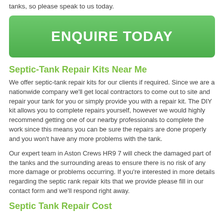tanks, so please speak to us today.
[Figure (other): Green button with text ENQUIRE TODAY]
Septic-Tank Repair Kits Near Me
We offer septic-tank repair kits for our clients if required. Since we are a nationwide company we'll get local contractors to come out to site and repair your tank for you or simply provide you with a repair kit. The DIY kit allows you to complete repairs yourself, however we would highly recommend getting one of our nearby professionals to complete the work since this means you can be sure the repairs are done properly and you won't have any more problems with the tank.
Our expert team in Aston Crews HR9 7 will check the damaged part of the tanks and the surrounding areas to ensure there is no risk of any more damage or problems occurring. If you're interested in more details regarding the septic rank repair kits that we provide please fill in our contact form and we'll respond right away.
Septic Tank Repair Cost